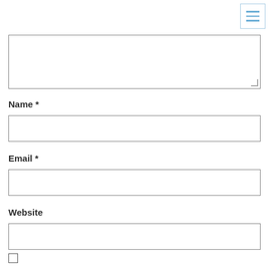[Figure (other): Hamburger menu icon button with three horizontal blue lines, bordered in light blue, positioned in the top-right corner]
(textarea input field, empty)
Name *
(text input field for Name, empty)
Email *
(text input field for Email, empty)
Website
(text input field for Website, empty)
(checkbox, unchecked)